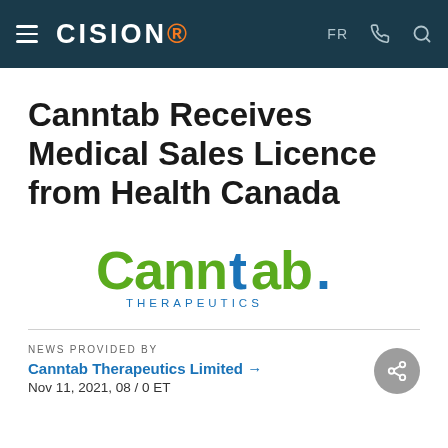CISION
Canntab Receives Medical Sales Licence from Health Canada
[Figure (logo): Canntab Therapeutics logo — green and blue stylized wordmark with 'Canntab.' in large text and 'THERAPEUTICS' in smaller spaced letters below]
NEWS PROVIDED BY
Canntab Therapeutics Limited →
Nov 11, 2021, 08 / 0 ET